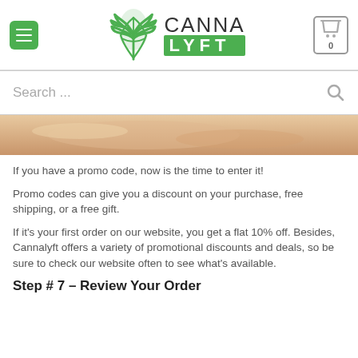Canna Lyft header with hamburger menu, logo, and cart icon
[Figure (screenshot): Search bar with placeholder text 'Search ...' and search icon]
[Figure (photo): Partial hero image showing hands/skin tone background]
If you have a promo code, now is the time to enter it!
Promo codes can give you a discount on your purchase, free shipping, or a free gift.
If it's your first order on our website, you get a flat 10% off. Besides, Cannalyft offers a variety of promotional discounts and deals, so be sure to check our website often to see what's available.
Step # 7 – Review Your Order